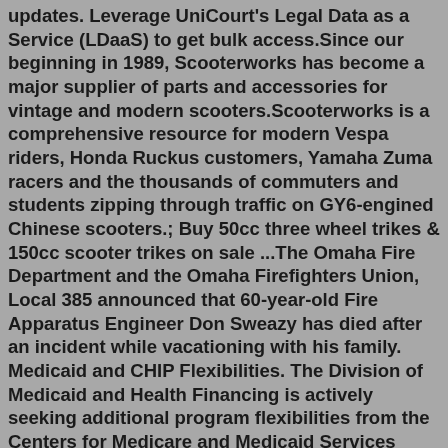updates. Leverage UniCourt's Legal Data as a Service (LDaaS) to get bulk access.Since our beginning in 1989, Scooterworks has become a major supplier of parts and accessories for vintage and modern scooters.Scooterworks is a comprehensive resource for modern Vespa riders, Honda Ruckus customers, Yamaha Zuma racers and the thousands of commuters and students zipping through traffic on GY6-engined Chinese scooters.; Buy 50cc three wheel trikes & 150cc scooter trikes on sale ...The Omaha Fire Department and the Omaha Firefighters Union, Local 385 announced that 60-year-old Fire Apparatus Engineer Don Sweazy has died after an incident while vacationing with his family. Medicaid and CHIP Flexibilities. The Division of Medicaid and Health Financing is actively seeking additional program flexibilities from the Centers for Medicare and Medicaid Services (CMS) in response to the COVID-19 public health emergency. Below please find the recently submitted requests: 1135 Waiver Request (submitted 4.2.20) Research told us that sharing such